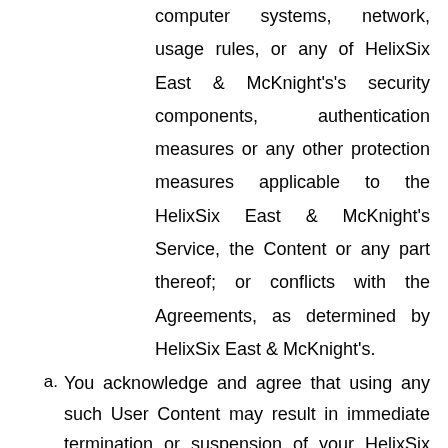computer systems, network, usage rules, or any of HelixSix East & McKnight's's security components, authentication measures or any other protection measures applicable to the HelixSix East & McKnight's Service, the Content or any part thereof; or conflicts with the Agreements, as determined by HelixSix East & McKnight's.
a. You acknowledge and agree that using any such User Content may result in immediate termination or suspension of your HelixSix East